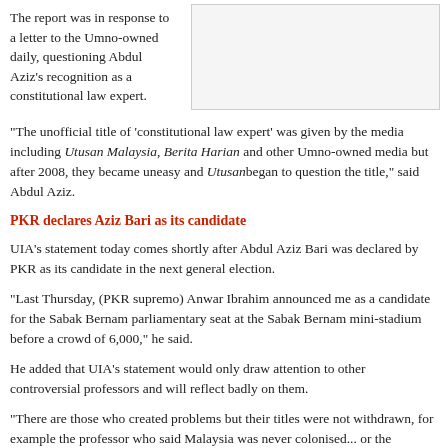The report was in response to a letter to the Umno-owned daily, questioning Abdul Aziz's recognition as a constitutional law expert.
[Figure (photo): Image placeholder box (blank/white rectangle with border)]
“The unofficial title of ‘constitutional law expert’ was given by the media including Utusan Malaysia, Berita Harian and other Umno-owned media but after 2008, they became uneasy and Utusanbegan to question the title,” said Abdul Aziz.
PKR declares Aziz Bari as its candidate
UIA’s statement today comes shortly after Abdul Aziz Bari was declared by PKR as its candidate in the next general election.
“Last Thursday, (PKR supremo) Anwar Ibrahim announced me as a candidate for the Sabak Bernam parliamentary seat at the Sabak Bernam mini-stadium before a crowd of 6,000,” he said.
He added that UIA’s statement would only draw attention to other controversial professors and will reflect badly on them.
“There are those who created problems but their titles were not withdrawn, for example the professor who said Malaysia was never colonised... or the professor who said Hang Tuah never existed.”